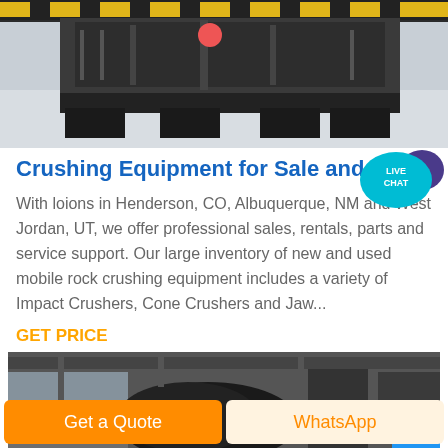[Figure (photo): Industrial crushing equipment in a warehouse/factory setting with yellow safety striped barriers]
[Figure (infographic): Live Chat speech bubble icon in teal/cyan with purple chat bubble, text: LIVE CHAT]
Crushing Equipment for Sale and Rent | Pow
With loions in Henderson, CO, Albuquerque, NM and West Jordan, UT, we offer professional sales, rentals, parts and service support. Our large inventory of new and used mobile rock crushing equipment includes a variety of Impact Crushers, Cone Crushers and Jaw...
GET PRICE
[Figure (photo): Industrial rock crushing machinery in a warehouse, partially wrapped in black covering with a red circle visible]
Get a Quote
WhatsApp